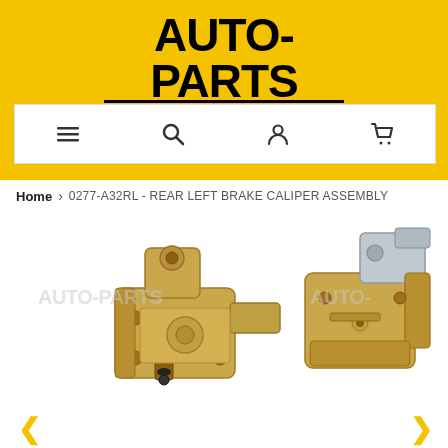[Figure (logo): AUTO-PARTS.com.au logo on yellow background]
[Figure (screenshot): Navigation bar with menu, search, account, and cart icons on white background]
Home > 0277-A32RL - REAR LEFT BRAKE CALIPER ASSEMBLY
[Figure (photo): Product photo of a rear left brake caliper assembly, gold/bronze colored metal part with mechanical components, shown against white background with AUTO-PARTS.com.au watermarks]